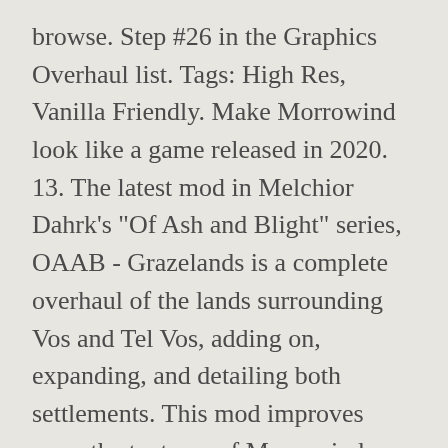browse. Step #26 in the Graphics Overhaul list. Tags: High Res, Vanilla Friendly. Make Morrowind look like a game released in 2020. 13. The latest mod in Melchior Dahrk's "Of Ash and Blight" series, OAAB - Grazelands is a complete overhaul of the lands surrounding Vos and Tel Vos, adding on, expanding, and detailing both settlements. This mod improves upon the textures of Morrowind, which might look pretty garish to players who have been spoiled by the amazing photorealistic graphics of some of these modern games. If you like any of the above games or Star Wars or Elder Scrolls come check it out! So below is a list of mods that will graphically enhance the Skyrim experience. For More minds allow well...